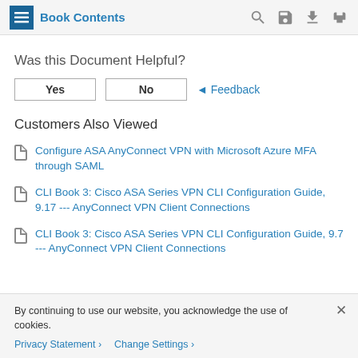Book Contents
Was this Document Helpful?
Yes   No   ◄ Feedback
Customers Also Viewed
Configure ASA AnyConnect VPN with Microsoft Azure MFA through SAML
CLI Book 3: Cisco ASA Series VPN CLI Configuration Guide, 9.17 --- AnyConnect VPN Client Connections
CLI Book 3: Cisco ASA Series VPN CLI Configuration Guide, 9.7 --- AnyConnect VPN Client Connections
By continuing to use our website, you acknowledge the use of cookies.
Privacy Statement >   Change Settings >